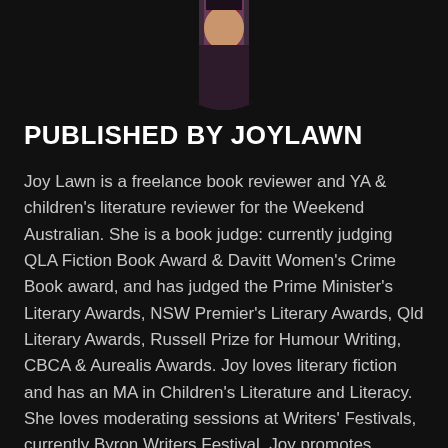[Figure (photo): Circular cropped portrait photo of a person with dark hair, partially visible at the top of the page against a dark background.]
PUBLISHED BY JOYLAWN
Joy Lawn is a freelance book reviewer and YA & children's literature reviewer for the Weekend Australian. She is a book judge: currently judging QLA Fiction Book Award & Davitt Women's Crime Book award, and has judged the Prime Minister's Literary Awards, NSW Premier's Literary Awards, Qld Literary Awards, Russell Prize for Humour Writing, CBCA & Aurealis Awards. Joy loves literary fiction and has an MA in Children's Literature and Literacy. She loves moderating sessions at Writers' Festivals, currently Byron Writers Festival. Joy promotes Australian literature here and overseas. 'A